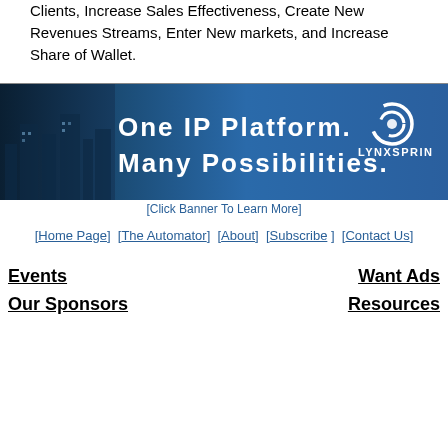Clients, Increase Sales Effectiveness, Create New Revenues Streams, Enter New markets, and Increase Share of Wallet.
[Figure (illustration): LynxSpring banner advertisement: 'One IP Platform. Many Possibilities.' with city skyline background and LynxSpring logo on the right.]
[Click Banner To Learn More]
[Home Page]  [The Automator]  [About]  [Subscribe ]  [Contact Us]
Events
Our Sponsors
Want Ads
Resources